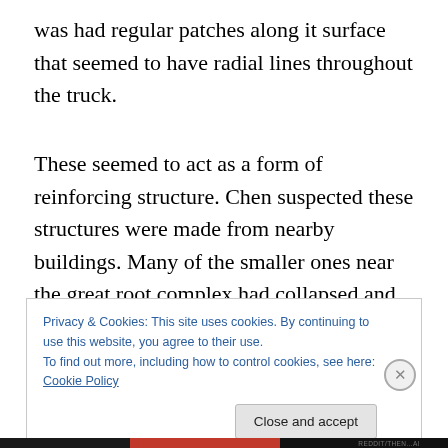was had regular patches along it surface that seemed to have radial lines throughout the truck.
These seemed to act as a form of reinforcing structure. Chen suspected these structures were made from nearby buildings. Many of the smaller ones near the great root complex had collapsed and from a few trips she had made to the root complex, those buildings were completely
Privacy & Cookies: This site uses cookies. By continuing to use this website, you agree to their use.
To find out more, including how to control cookies, see here: Cookie Policy
Close and accept